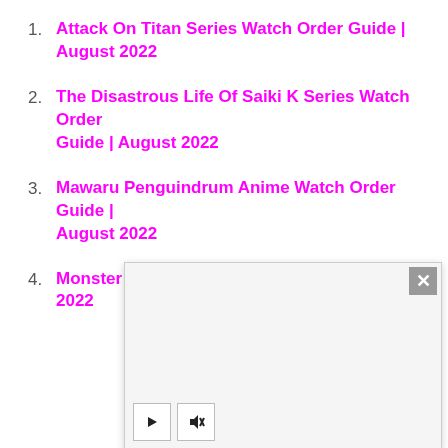1. Attack On Titan Series Watch Order Guide | August 2022
2. The Disastrous Life Of Saiki K Series Watch Order Guide | August 2022
3. Mawaru Penguindrum Anime Watch Order Guide | August 2022
4. Monster Strike Watch Order Guide | August 2022
[Figure (screenshot): Video player overlay with white/gray background, close button (×) in top-right corner, and play/mute control buttons at bottom-left]